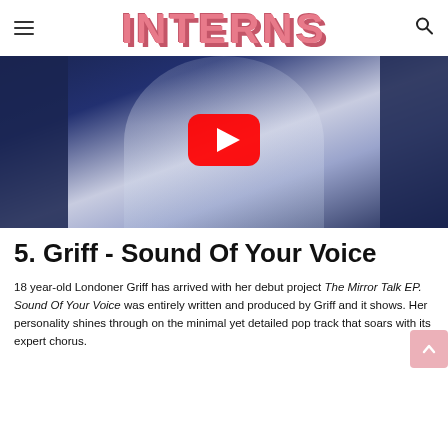INTERNS
[Figure (screenshot): YouTube video thumbnail for Griff - Sound Of Your Voice, showing a figure in white body paint/costume against a dark blue background with 'PLANET Y2K' text, with a YouTube play button overlay.]
5. Griff - Sound Of Your Voice
18 year-old Londoner Griff has arrived with her debut project The Mirror Talk EP. Sound Of Your Voice was entirely written and produced by Griff and it shows. Her personality shines through on the minimal yet detailed pop track that soars with its expert chorus.